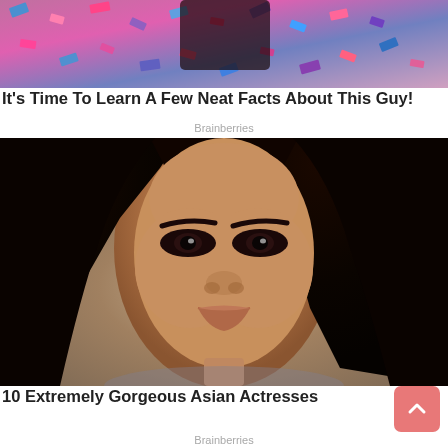[Figure (photo): Person at a confetti-filled celebration event, seen from below, with colorful pink, blue, and purple confetti falling.]
It's Time To Learn A Few Neat Facts About This Guy!
Brainberries
[Figure (photo): Close-up portrait of a woman with long dark hair, dramatic eye makeup, and a neutral background.]
10 Extremely Gorgeous Asian Actresses
Brainberries